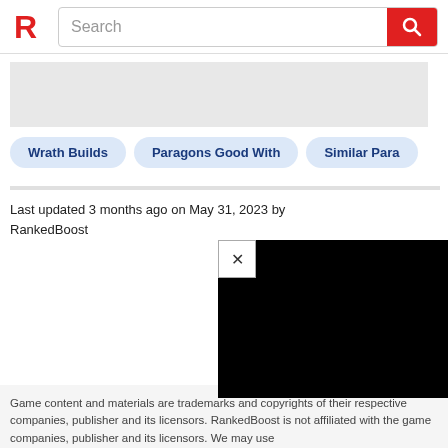Search
[Figure (other): Gray placeholder image area]
Wrath Builds
Paragons Good With
Similar Para
Last updated 3 months ago on May 31, 2023 by RankedBoost
[Figure (other): Black video player overlay with close (X) button]
Game content and materials are trademarks and copyrights of their respective companies, publisher and its licensors. RankedBoost is not affiliated with the game companies, publisher and its licensors. We may use